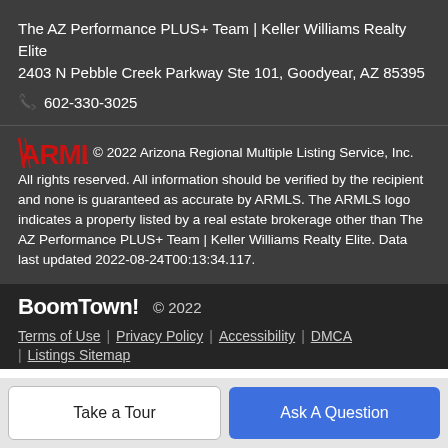The AZ Performance PLUS+ Team | Keller Williams Realty Elite
2403 N Pebble Creek Parkway Ste 101, Goodyear, AZ 85395
📞 602-330-3025
© 2022 Arizona Regional Multiple Listing Service, Inc. All rights reserved. All information should be verified by the recipient and none is guaranteed as accurate by ARMLS. The ARMLS logo indicates a property listed by a real estate brokerage other than The AZ Performance PLUS+ Team | Keller Williams Realty Elite. Data last updated 2022-08-24T00:13:34.117.
BoomTown! © 2022
Terms of Use | Privacy Policy | Accessibility | DMCA | Listings Sitemap
Take a Tour
Ask A Question